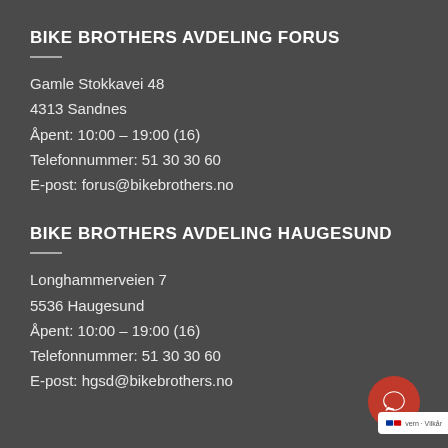BIKE BROTHERS AVDELING FORUS
Gamle Stokkavei 48
4313 Sandnes
Åpent: 10:00 – 19:00 (16)
Telefonnummer: 51 30 30 60
E-post: forus@bikebrothers.no
BIKE BROTHERS AVDELING HAUGESUND
Longhammerveien 7
5536 Haugesund
Åpent: 10:00 – 19:00 (16)
Telefonnummer: 51 30 30 60
E-post: hgsd@bikebrothers.no